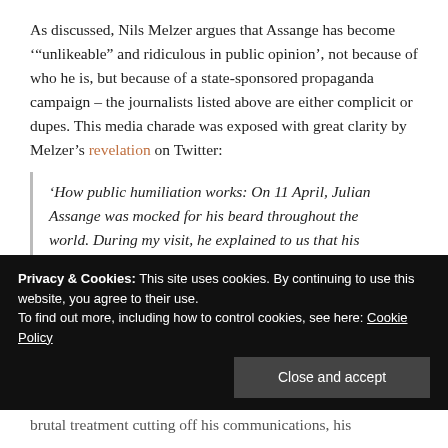As discussed, Nils Melzer argues that Assange has become '"unlikeable" and ridiculous in public opinion', not because of who he is, but because of a state-sponsored propaganda campaign – the journalists listed above are either complicit or dupes. This media charade was exposed with great clarity by Melzer's revelation on Twitter:
'How public humiliation works: On 11 April, Julian Assange was mocked for his beard throughout the world. During my visit, he explained to us that his shaving kit had been deliberately taken away three months earlier.'
Privacy & Cookies: This site uses cookies. By continuing to use this website, you agree to their use.
To find out more, including how to control cookies, see here: Cookie Policy
brutal treatment cutting off his communications, his